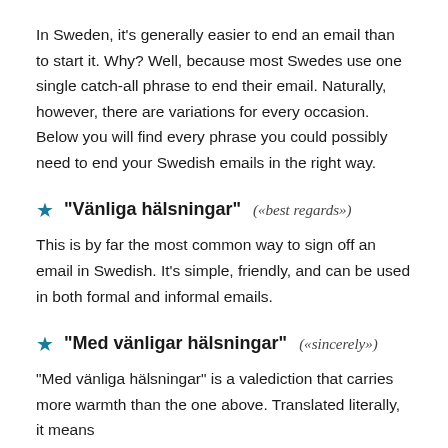In Sweden, it's generally easier to end an email than to start it. Why? Well, because most Swedes use one single catch-all phrase to end their email. Naturally, however, there are variations for every occasion. Below you will find every phrase you could possibly need to end your Swedish emails in the right way.
"Vänliga hälsningar" («best regards»)
This is by far the most common way to sign off an email in Swedish. It's simple, friendly, and can be used in both formal and informal emails.
"Med vänligar hälsningar" («sincerely»)
"Med vänliga hälsningar" is a valediction that carries more warmth than the one above. Translated literally, it means